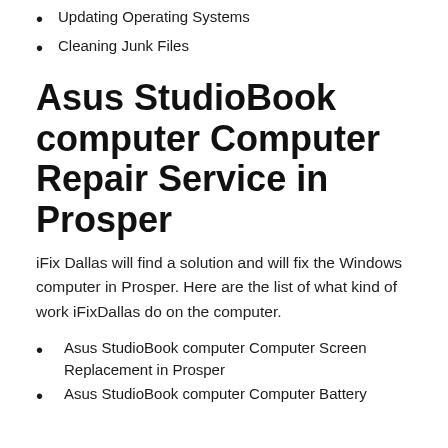Updating Operating Systems
Cleaning Junk Files
Asus StudioBook computer Computer Repair Service in Prosper
iFix Dallas will find a solution and will fix the Windows computer in Prosper. Here are the list of what kind of work iFixDallas do on the computer.
Asus StudioBook computer Computer Screen Replacement in Prosper
Asus StudioBook computer Computer Battery